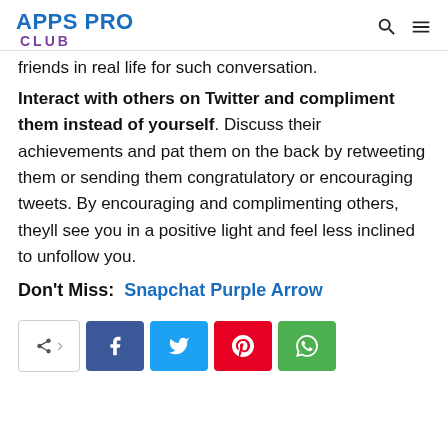APPS PRO CLUB
friends in real life for such conversation.
Interact with others on Twitter and compliment them instead of yourself. Discuss their achievements and pat them on the back by retweeting them or sending them congratulatory or encouraging tweets. By encouraging and complimenting others, theyll see you in a positive light and feel less inclined to unfollow you.
Don't Miss: Snapchat Purple Arrow
[Figure (infographic): Social share bar with native share button, Facebook, Twitter, Pinterest, and WhatsApp buttons]